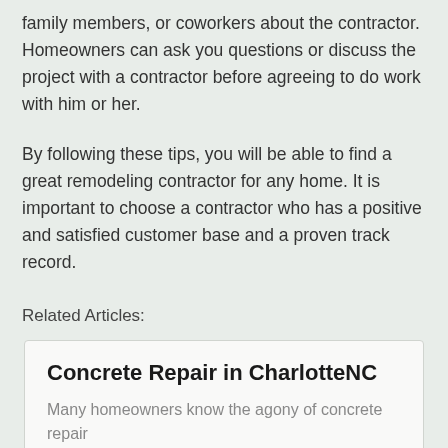family members, or coworkers about the contractor. Homeowners can ask you questions or discuss the project with a contractor before agreeing to do work with him or her.
By following these tips, you will be able to find a great remodeling contractor for any home. It is important to choose a contractor who has a positive and satisfied customer base and a proven track record.
Related Articles:
Concrete Repair in CharlotteNC
Many homeowners know the agony of concrete repair